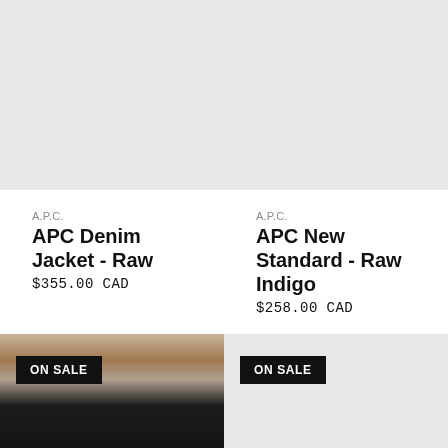[Figure (photo): Light grey placeholder image for APC Denim Jacket product (top left)]
[Figure (photo): Light grey placeholder image for APC New Standard Raw Indigo product (top right)]
A.P.C.
APC Denim Jacket - Raw
$355.00 CAD
A.P.C.
APC New Standard - Raw Indigo
$258.00 CAD
[Figure (photo): Photo of person wearing dark raw denim jeans, showing torso and waist area. ON SALE badge visible.]
[Figure (photo): Light grey placeholder image with ON SALE badge (bottom right)]